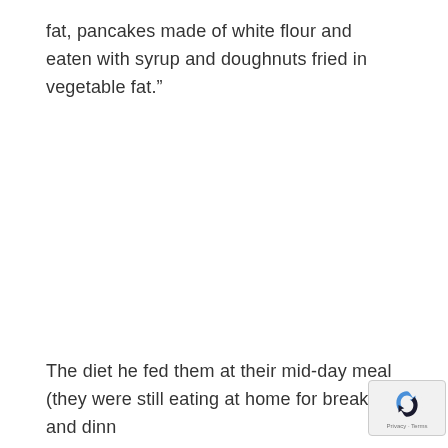fat, pancakes made of white flour and eaten with syrup and doughnuts fried in vegetable fat."
The diet he fed them at their mid-day meal (they were still eating at home for breakfast and dinn was: